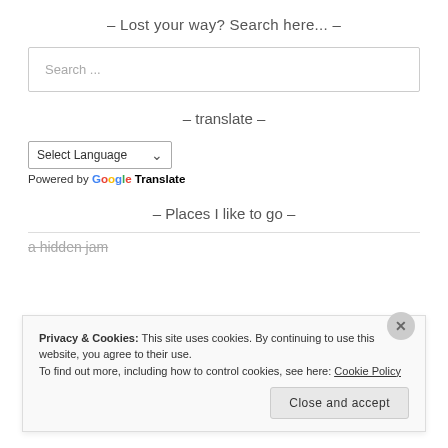– Lost your way? Search here... –
Search ...
– translate –
Select Language
Powered by Google Translate
– Places I like to go –
a hidden jam
Privacy & Cookies: This site uses cookies. By continuing to use this website, you agree to their use. To find out more, including how to control cookies, see here: Cookie Policy
Close and accept